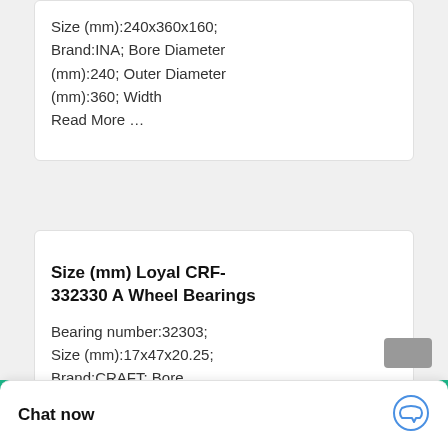Size (mm):240x360x160; Brand:INA; Bore Diameter (mm):240; Outer Diameter (mm):360; Width Read More …
Size (mm) Loyal CRF-332330 A Wheel Bearings
Bearing number:32303; Size (mm):17x47x20.25; Brand:CRAFT; Bore Diameter (mm):17; Outer Diameter (mm):47; Width (mm):20.25+1.5
Chat now